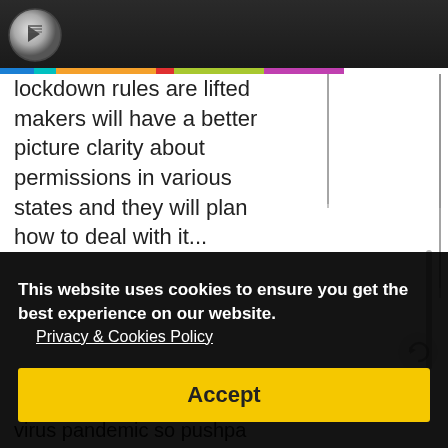Q (logo/header bar)
lockdown rules are lifted makers will have a better picture clarity about permissions in various states and they will plan how to deal with it...
[Figure (photo): Thumbnail photo showing two people, likely actors, in what appears to be a movie scene]
This website uses cookies to ensure you get the best experience on our website. Privacy & Cookies Policy
Accept
virus pandemic so pushpa